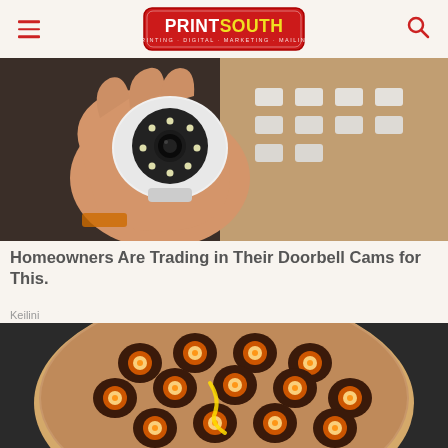PRINTSOUTH — PRINTING · DIGITAL · MARKETING · MAILING
[Figure (photo): A hand holding a small white dome security/surveillance camera with LED ring, with white foam packaging in background]
Homeowners Are Trading in Their Doorbell Cams for This.
Keilini
[Figure (photo): Close-up photo of a round food item (possibly a pizza or bread) with multiple small cup-like hollows each containing egg yolks, shot on a dark background]